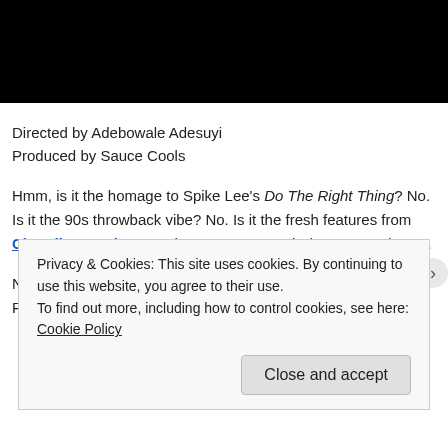[Figure (photo): Black video thumbnail/player area at top of page]
Directed by Adebowale Adesuyi
Produced by Sauce Cools
Hmm, is it the homage to Spike Lee's Do The Right Thing? No. Is it the 90s throwback vibe? No. Is it the fresh features from Chandler London, J Arthur, Dot Kom, and ShowYouSuck? No.
Not sure what it is, really, but when it comes to this new Retrospect video, if the question is "Can I," the answer is YES.
Privacy & Cookies: This site uses cookies. By continuing to use this website, you agree to their use.
To find out more, including how to control cookies, see here: Cookie Policy
Close and accept